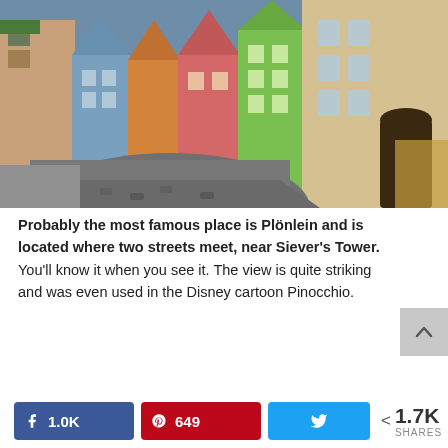[Figure (photo): Colorful medieval street with cobblestone road in Rothenburg ob der Tauber, Germany. Buildings in pink, blue, orange, green, and beige line both sides of a narrow street.]
Probably the most famous place is Plönlein and is located where two streets meet, near Siever's Tower. You'll know it when you see it. The view is quite striking and was even used in the Disney cartoon Pinocchio.
Facebook 1.0K  Pinterest 649  Twitter  < 1.7K SHARES